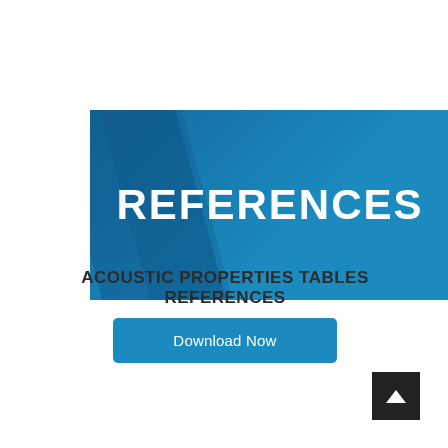REFERENCES
ACOUSTIC PROPERTIES TABLES REFERENCES
Download Now